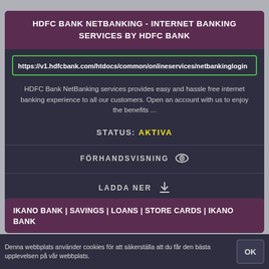HDFC BANK NETBANKING - INTERNET BANKING SERVICES BY HDFC BANK
https://v1.hdfcbank.com/htdocs/common/onlineservices/netbankinglogin
HDFC Bank NetBanking services provides easy and hassle free internet banking experience to all our customers. Open an account with us to enjoy the benefits ...
STATUS: AKTIVA
FÖRHANDSVISNING
LADDA NER
IKANO BANK | SAVINGS | LOANS | STORE CARDS | IKANO BANK
Denna webbplats använder cookies för att säkerställa att du får den bästa upplevelsen på vår webbplats.